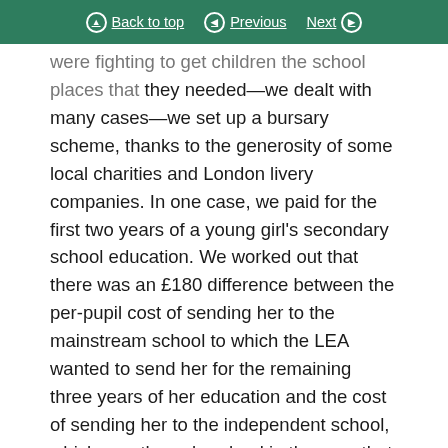Back to top | Previous | Next
were fighting to get children the school places that they needed—we dealt with many cases—we set up a bursary scheme, thanks to the generosity of some local charities and London livery companies. In one case, we paid for the first two years of a young girl's secondary school education. We worked out that there was an £180 difference between the per-pupil cost of sending her to the mainstream school to which the LEA wanted to send her for the remaining three years of her education and the cost of sending her to the independent school, which was the only school in the area that could cater for her special educational needs. That is a scandal in itself, but we then submitted a freedom of information request which established that the amount that the LEA had spent on the legal fees